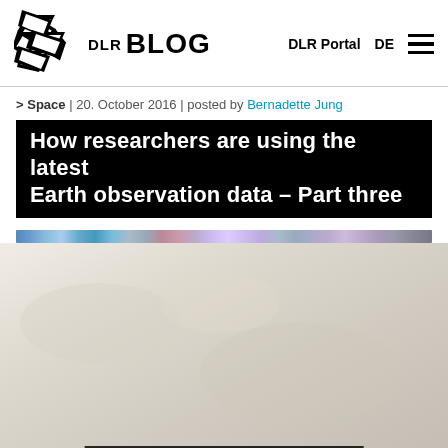[Figure (logo): DLR BLOG logo with geometric diamond/arrow shape]
DLR Portal  DE
> Space | 20. October 2016 | posted by Bernadette Jung
How researchers are using the latest Earth observation data – Part three
[Figure (photo): Colourful Earth observation satellite image strip showing spectral data]
[Figure (photo): Satellite Earth observation image (main photo area, mostly white/light)]
Credit: DLR/Simon Fraser University/Rebus, Eppler